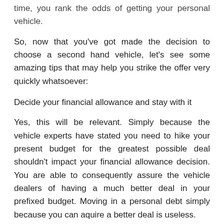time, you rank the odds of getting your personal vehicle.
So, now that you've got made the decision to choose a second hand vehicle, let's see some amazing tips that may help you strike the offer very quickly whatsoever:
Decide your financial allowance and stay with it
Yes, this will be relevant. Simply because the vehicle experts have stated you need to hike your present budget for the greatest possible deal shouldn't impact your financial allowance decision. You are able to consequently assure the vehicle dealers of having a much better deal in your prefixed budget. Moving in a personal debt simply because you can aquire a better deal is useless.
Look into the vehicle throughout the day
Never result in the mistake of going and examining the used vehicle during evening. Frequently poor visibility